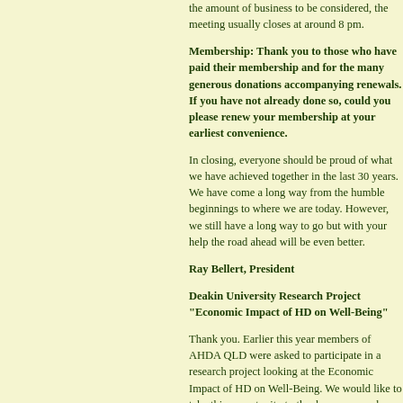the amount of business to be considered, the meeting usually closes at around 8 pm.
Membership: Thank you to those who have paid their membership and for the many generous donations accompanying renewals. If you have not already done so, could you please renew your membership at your earliest convenience.
In closing, everyone should be proud of what we have achieved together in the last 30 years. We have come a long way from the humble beginnings to where we are today. However, we still have a long way to go but with your help the road ahead will be even better.
Ray Bellert, President
Deakin University Research Project "Economic Impact of HD on Well-Being"
Thank you. Earlier this year members of AHDA QLD were asked to participate in a research project looking at the Economic Impact of HD on Well-Being. We would like to take this opportunity to thank everyone who participated, your contribution was greatly valued and appreciated. We have now finished collecting questionnaires, with a total of 417 patients and 320 carers returning a completed